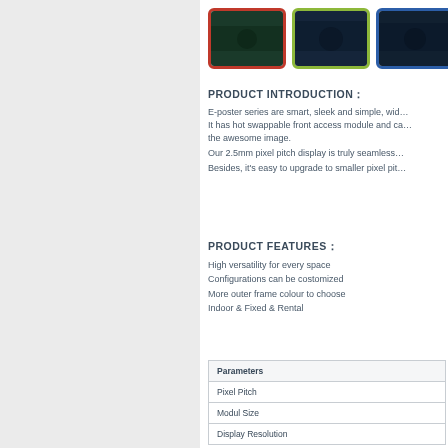[Figure (photo): Three thumbnail images of LED display panels with red, green, and blue borders respectively, showing dark forest/night scenes]
PRODUCT INTRODUCTION：
E-poster series are smart, sleek and simple, wid… It has hot swappable front access module and ca… the awesome image. Our 2.5mm pixel pitch display is truly seamless… Besides, it's easy to upgrade to smaller pixel pit…
PRODUCT FEATURES：
High versatility for every space
Configurations can be costomized
More outer frame colour to choose
Indoor & Fixed & Rental
| Parameters |
| --- |
| Pixel Pitch |
| Modul Size |
| Display Resolution |